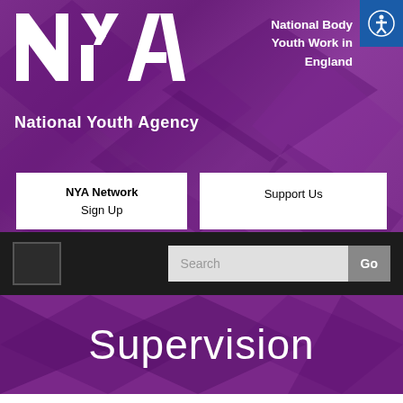[Figure (screenshot): National Youth Agency (NYA) website header with purple geometric background, NYA logo, navigation buttons, search bar, and Supervision page title]
Supervision